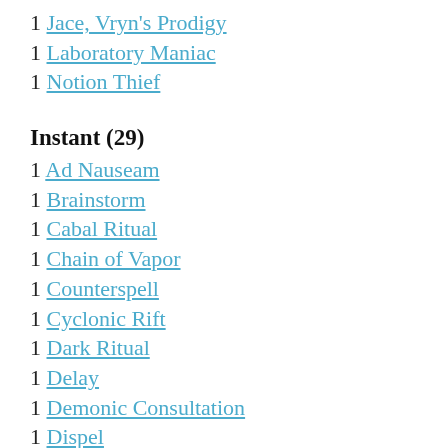1 Jace, Vryn's Prodigy
1 Laboratory Maniac
1 Notion Thief
Instant (29)
1 Ad Nauseam
1 Brainstorm
1 Cabal Ritual
1 Chain of Vapor
1 Counterspell
1 Cyclonic Rift
1 Dark Ritual
1 Delay
1 Demonic Consultation
1 Dispel
1 Dramatic Reversal